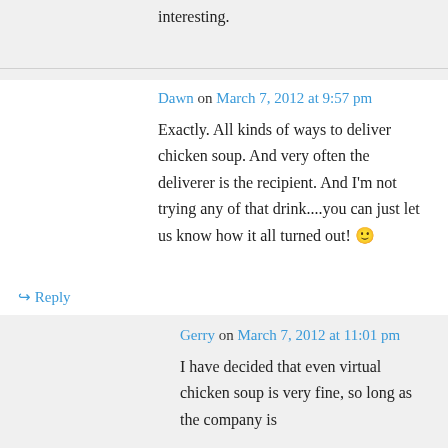interesting.
Dawn on March 7, 2012 at 9:57 pm
Exactly. All kinds of ways to deliver chicken soup. And very often the deliverer is the recipient. And I'm not trying any of that drink....you can just let us know how it all turned out! 🙂
↪ Reply
Gerry on March 7, 2012 at 11:01 pm
I have decided that even virtual chicken soup is very fine, so long as the company is